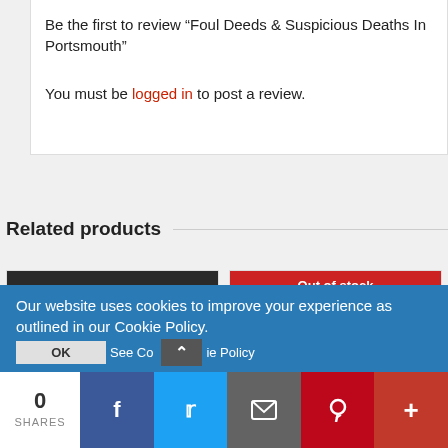Be the first to review “Foul Deeds & Suspicious Deaths In Portsmouth”
You must be logged in to post a review.
Related products
[Figure (photo): Book cover for 'The Disappeared']
[Figure (photo): Book cover by Andrew Cook, shown with Out of stock banner]
Our website uses cookies to improve your experience as outlined in our Cookie Policy.
0 SHARES